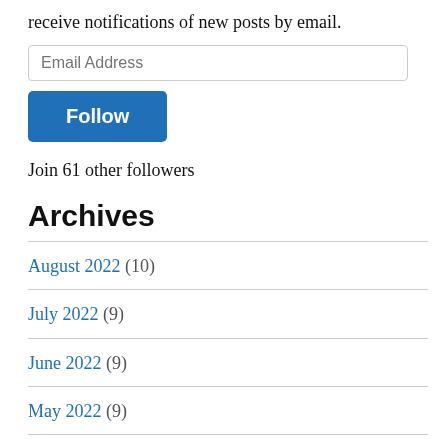receive notifications of new posts by email.
Email Address
Follow
Join 61 other followers
Archives
August 2022 (10)
July 2022 (9)
June 2022 (9)
May 2022 (9)
April 2022 (9)
March 2022 (9)